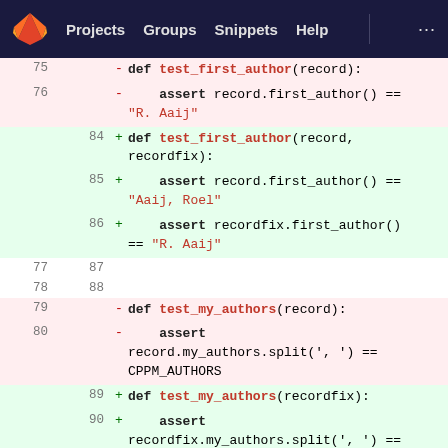GitLab navigation: Projects | Groups | Snippets | Help
[Figure (screenshot): GitLab diff view showing Python test code changes. Lines 75-80 are removed (red background) and lines 84-90 are added (green background), modifying test_first_author and test_my_authors functions.]